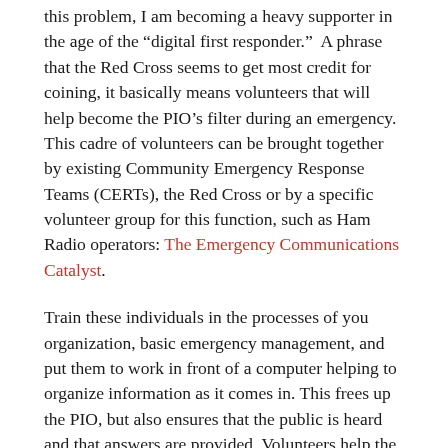this problem, I am becoming a heavy supporter in the age of the “digital first responder.”  A phrase that the Red Cross seems to get most credit for coining, it basically means volunteers that will help become the PIO’s filter during an emergency.  This cadre of volunteers can be brought together by existing Community Emergency Response Teams (CERTs), the Red Cross or by a specific volunteer group for this function, such as Ham Radio operators: The Emergency Communications Catalyst.
Train these individuals in the processes of you organization, basic emergency management, and put them to work in front of a computer helping to organize information as it comes in. This frees up the PIO, but also ensures that the public is heard and that answers are provided. Volunteers help the two-way street from becoming one-way and a potential hazard to your communications. This is the greatest area in which organizations can innovate and help to standardize their social media engagement during emergencies.
The complex responsibilities of the PIO — getting information out to the public, not being run over by the technology train that is social media, and remembering the basics